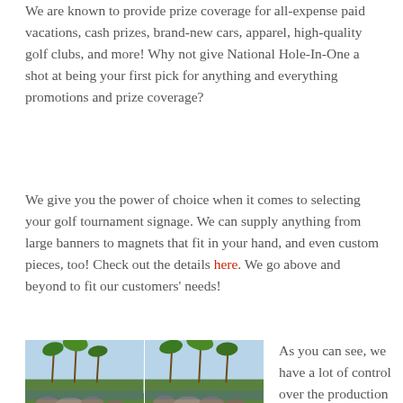We are known to provide prize coverage for all-expense paid vacations, cash prizes, brand-new cars, apparel, high-quality golf clubs, and more! Why not give National Hole-In-One a shot at being your first pick for anything and everything promotions and prize coverage?
We give you the power of choice when it comes to selecting your golf tournament signage. We can supply anything from large banners to magnets that fit in your hand, and even custom pieces, too! Check out the details here. We go above and beyond to fit our customers' needs!
[Figure (photo): Two golf hole sponsor signs side by side showing a golf course scene with palm trees, rocks, and green grass. Each panel has a dark green banner at the bottom reading 'THIS HOLE SPONSORED BY' in gold text.]
As you can see, we have a lot of control over the production of our